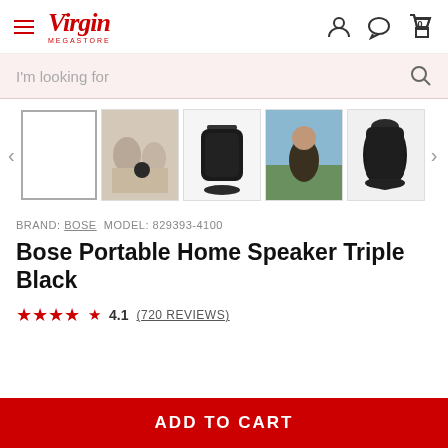Virgin Megastore
I'm looking for
[Figure (photo): Product image gallery with 5 thumbnail images of the Bose Portable Home Speaker Triple Black from various angles and lifestyle shots]
BRAND: BOSE  MODEL: 829393-4100
Bose Portable Home Speaker Triple Black
★★★★☆ 4.1  (720 REVIEWS)
ADD TO CART